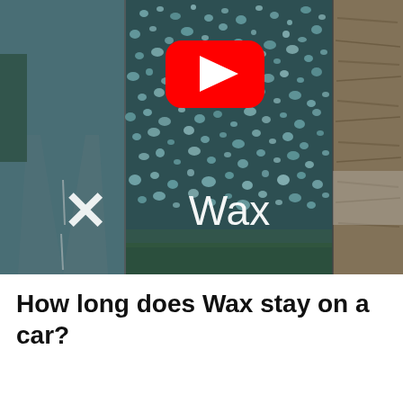[Figure (screenshot): YouTube video thumbnail showing a car windshield covered in water droplets (beading effect from wax), with a red YouTube play button in the center, the word 'Wax' in white text in the lower center, an 'X' mark in white on the lower left, a rainy road visible on the left side panel, and a rough textured surface on the right side panel.]
How long does Wax stay on a car?